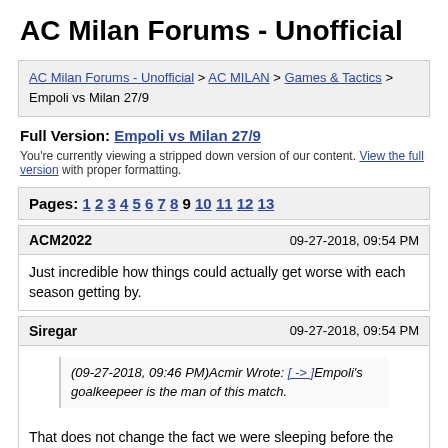AC Milan Forums - Unofficial
AC Milan Forums - Unofficial > AC MILAN > Games & Tactics > Empoli vs Milan 27/9
Full Version: Empoli vs Milan 27/9
You're currently viewing a stripped down version of our content. View the full version with proper formatting.
Pages: 1 2 3 4 5 6 7 8 9 10 11 12 13
ACM2022   09-27-2018, 09:54 PM
Just incredible how things could actually get worse with each season getting by.
Siregar   09-27-2018, 09:54 PM
(09-27-2018, 09:46 PM)Acmir Wrote: [-> ] Empoli's goalkeepeer is the man of this match.
That does not change the fact we were sleeping before the subs came in. We should keep attacking them right after we scored.